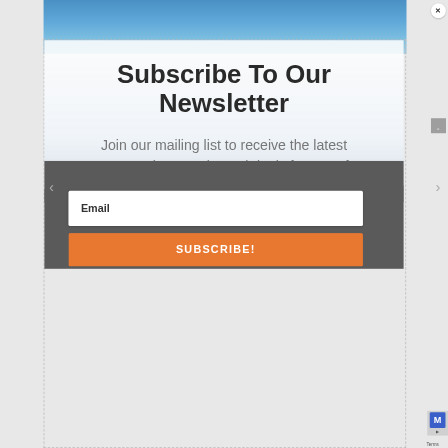[Figure (screenshot): Website newsletter subscription popup modal with dashed border, background photo of Corfu Island buildings, title text, description text, email input field, and orange subscribe button]
Subscribe To Our Newsletter
Join our mailing list to receive the latest news, updates and travel deals from Corfu Island.
Email
SUBSCRIBE!